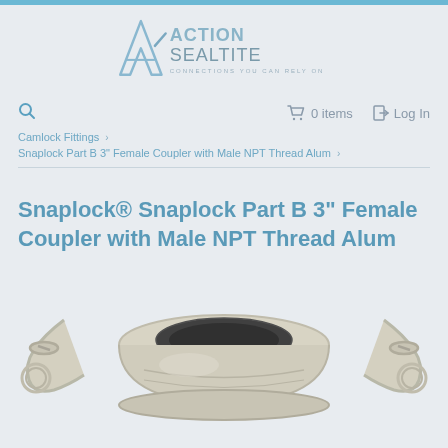[Figure (logo): Action Sealtite logo with stylized A chevron and tagline 'Connections You Can Rely On']
0 items   Log In
Camlock Fittings > Snaplock Part B 3" Female Coupler with Male NPT Thread Alum >
Snaplock® Snaplock Part B 3" Female Coupler with Male NPT Thread Alum
[Figure (photo): Aluminum camlock female coupler Part B 3 inch with male NPT thread, showing the coupling body with two lever arms/handles on the sides]